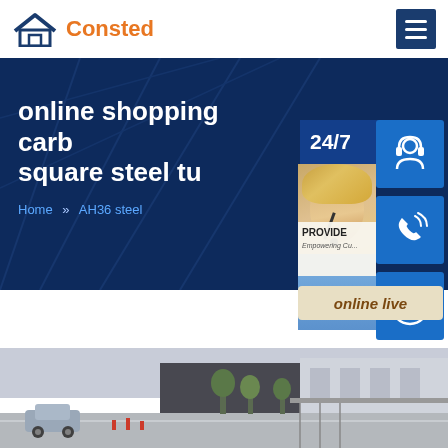Consted
online shopping carb square steel tu
Home » AH36 steel
[Figure (infographic): 24/7 customer service floating panel with headset icon, phone icon, Skype icon, 'online live' button, and customer service representative photo. Text: '24/7', 'PROVIDE', 'Empowering Cu[stomers]', 'online live']
[Figure (photo): Factory exterior building photo, showing a street with a car, trees, and industrial buildings in the background]